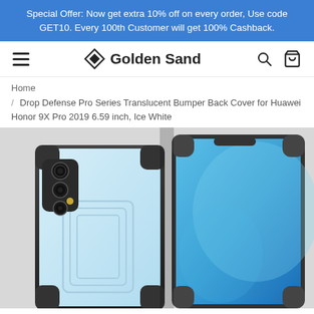Special Offer: Now get extra 10% off on every order, Use code GET10. Every 100th Customer will get 100% Cashback.
[Figure (logo): Golden Sand store logo with navigation bar including hamburger menu, search icon, and cart icon]
Home
/ Drop Defense Pro Series Translucent Bumper Back Cover for Huawei Honor 9X Pro 2019 6.59 inch, Ice White
[Figure (photo): Product photo of Drop Defense Pro Series Translucent Bumper Back Cover for Huawei Honor 9X Pro in Ice White color, showing back and front views of the phone case with black bumper edges and clear light blue back panel]